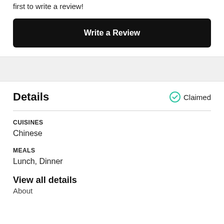first to write a review!
Write a Review
Details
Claimed
CUISINES
Chinese
MEALS
Lunch, Dinner
View all details
About